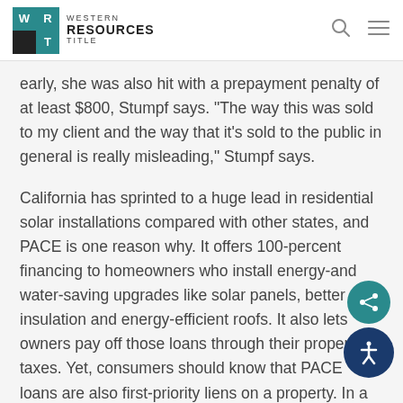Western Resources Title
early, she was also hit with a prepayment penalty of at least $800, Stumpf says. "The way this was sold to my client and the way that it's sold to the public in general is really misleading," Stumpf says.
California has sprinted to a huge lead in residential solar installations compared with other states, and PACE is one reason why. It offers 100-percent financing to homeowners who install energy-and water-saving upgrades like solar panels, better insulation and energy-efficient roofs. It also lets owners pay off those loans through their property taxes. Yet, consumers should know that PACE loans are also first-priority liens on a property. In a